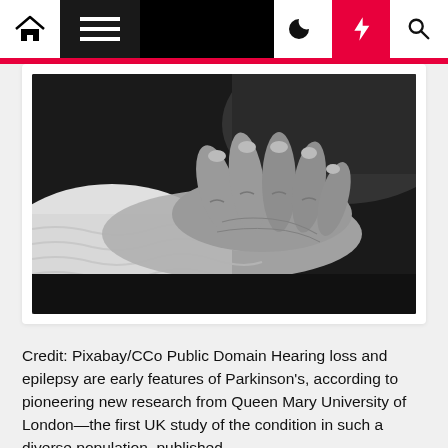Navigation bar with home, menu, dark mode, lightning, and search icons
[Figure (photo): Black and white close-up photograph of two hands overlapping, one elderly hand resting on another, with a knitted fabric visible in the background.]
Credit: Pixabay/CCo Public Domain Hearing loss and epilepsy are early features of Parkinson's, according to pioneering new research from Queen Mary University of London—the first UK study of the condition in such a diverse population, published in the JAMA Neurology. Queen Mary researchers...